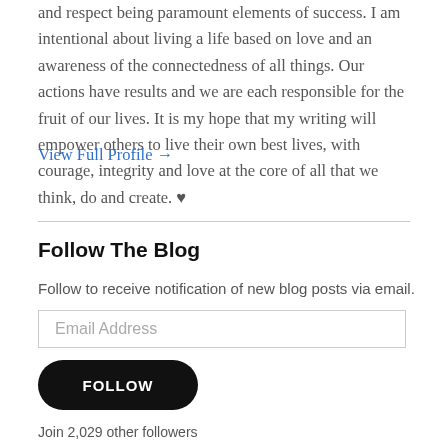and respect being paramount elements of success. I am intentional about living a life based on love and an awareness of the connectedness of all things. Our actions have results and we are each responsible for the fruit of our lives. It is my hope that my writing will empower others to live their own best lives, with courage, integrity and love at the core of all that we think, do and create. ♥
View Full Profile →
Follow The Blog
Follow to receive notification of new blog posts via email.
Email Address
FOLLOW
Join 2,029 other followers